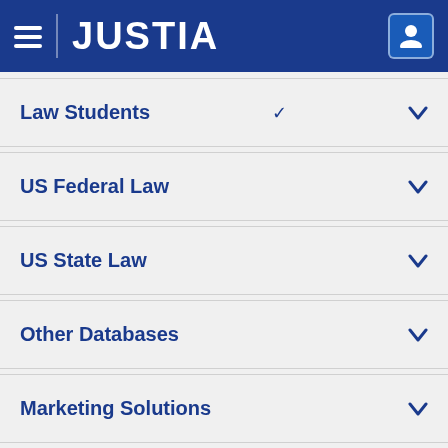JUSTIA
Law Students
US Federal Law
US State Law
Other Databases
Marketing Solutions
[Figure (logo): Social media icons: Facebook, Twitter, LinkedIn, Justia J]
© 2022 Justia
Justia Connect